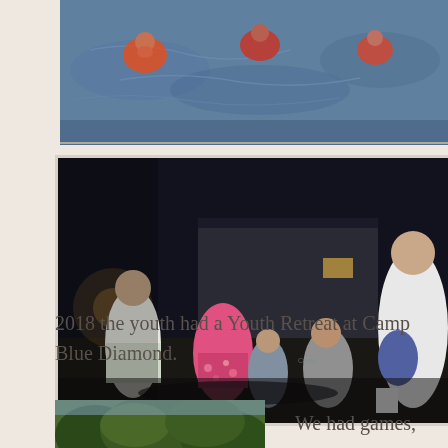[Figure (photo): Children swimming in a pool with floaties, viewed from above]
[Figure (photo): Group of youth and adults sitting outdoors at night near a building, participating in a camp retreat activity]
2018 the youth had a Youth Retreat at Camp Blue Diamond.
[Figure (photo): Outdoor nature scene with trees and greenery at Camp Blue Diamond]
We had games,